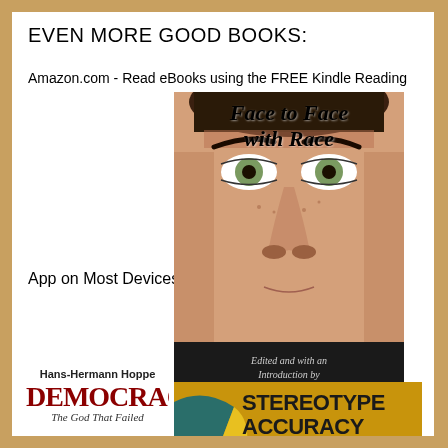EVEN MORE GOOD BOOKS:
Amazon.com - Read eBooks using the FREE Kindle Reading App on Most Devices
[Figure (photo): Book cover: 'Face to Face with Race' — close-up photo of a face showing eyes and nose, with italic serif title text. Below: black band reading 'Edited and with an Introduction by Jared Taylor' in red italic.]
[Figure (photo): Book cover: 'STEREOTYPE ACCURACY — Toward Appreciating Group Differences' with colorful geometric shapes (pie/donut segments in teal, yellow, red).]
[Figure (photo): Book cover: 'DEMOCRACY — The God That Failed' by Hans-Hermann Hoppe, with bold red title text.]